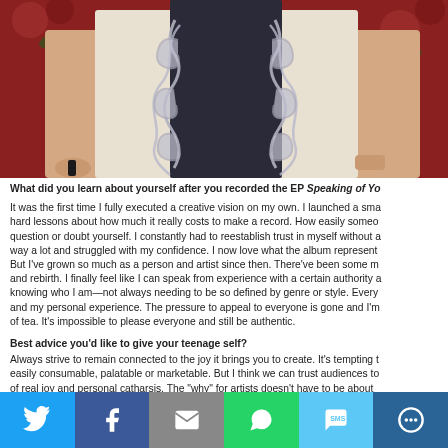[Figure (photo): Photo of a woman in a black and white gown with silver embroidery/lace detail down the center front, standing in front of a red floral background.]
What did you learn about yourself after you recorded the EP Speaking of Yo... It was the first time I fully executed a creative vision on my own. I launched a sma... hard lessons about how much it really costs to make a record. How easily someo... question or doubt yourself. I constantly had to reestablish trust in myself without a... way a lot and struggled with my confidence. I now love what the album represent... But I've grown so much as a person and artist since then. There've been some m... and rebirth. I finally feel like I can speak from experience with a certain authority a... knowing who I am—not always needing to be so defined by genre or style. Every... and my personal experience. The pressure to appeal to everyone is gone and I'm... of tea. It's impossible to please everyone and still be authentic.
Best advice you'd like to give your teenage self? Always strive to remain connected to the joy it brings you to create. It's tempting t... easily consumable, palatable or marketable. But I think we can trust audiences to... of real joy and personal catharsis. The "why" for artists doesn't have to be about...
[Figure (infographic): Social sharing bar with Twitter (blue), Facebook (dark blue), Email/Mail (grey), WhatsApp (green), SMS (light blue), and More (dark blue) buttons.]